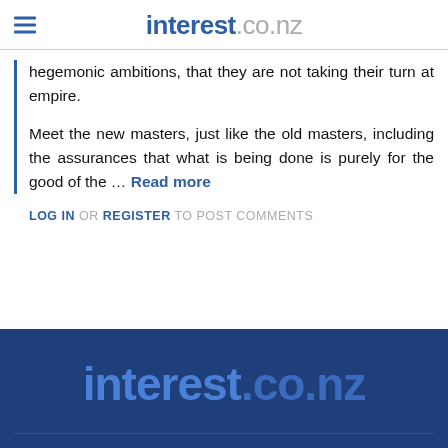interest.co.nz
hegemonic ambitions, that they are not taking their turn at empire.
Meet the new masters, just like the old masters, including the assurances that what is being done is purely for the good of the … Read more
LOG IN OR REGISTER TO POST COMMENTS
[Figure (logo): interest.co.nz logo in white/blue on dark blue background footer]
interest.co.nz